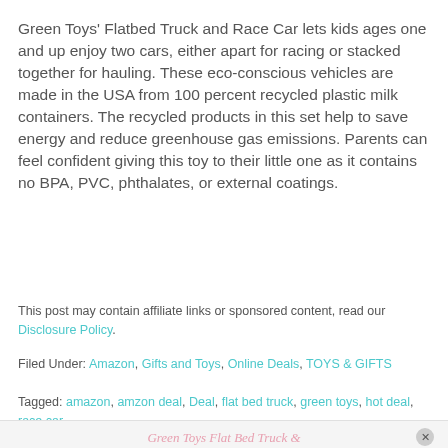Green Toys' Flatbed Truck and Race Car lets kids ages one and up enjoy two cars, either apart for racing or stacked together for hauling. These eco-conscious vehicles are made in the USA from 100 percent recycled plastic milk containers. The recycled products in this set help to save energy and reduce greenhouse gas emissions. Parents can feel confident giving this toy to their little one as it contains no BPA, PVC, phthalates, or external coatings.
This post may contain affiliate links or sponsored content, read our Disclosure Policy.
Filed Under: Amazon, Gifts and Toys, Online Deals, TOYS & GIFTS
Tagged: amazon, amzon deal, Deal, flat bed truck, green toys, hot deal, race car
Green Toys Flat Bed Truck &